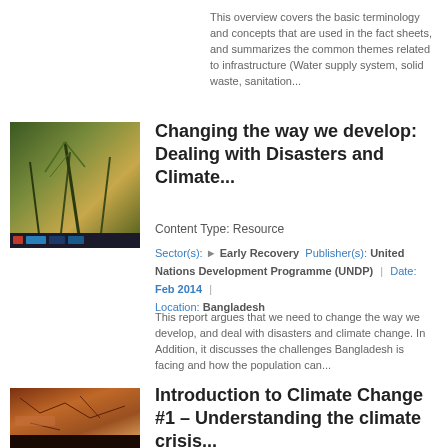This overview covers the basic terminology and concepts that are used in the fact sheets, and summarizes the common themes related to infrastructure (Water supply system, solid waste, sanitation...
Changing the way we develop: Dealing with Disasters and Climate...
Content Type: Resource
Sector(s): ➤ Early Recovery   Publisher(s): United Nations Development Programme (UNDP)   |   Date: Feb 2014   |   Location: Bangladesh
This report argues that we need to change the way we develop, and deal with disasters and climate change. In Addition, it discusses the challenges Bangladesh is facing and how the population can...
Introduction to Climate Change #1 – Understanding the climate crisis...